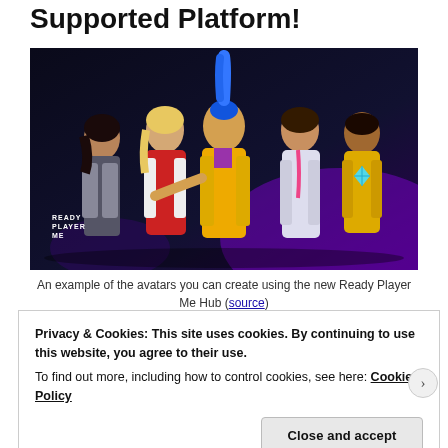Supported Platform!
[Figure (illustration): 3D animated avatars from Ready Player Me Hub — five characters standing together: a dark-haired woman in grey blazer, a blonde in red varsity jacket, a blue-haired woman in yellow jacket pointing, a man in white shirt, and a man in yellow sweater with diamond logo. Ready Player Me logo in lower left.]
An example of the avatars you can create using the new Ready Player Me Hub (source)
Privacy & Cookies: This site uses cookies. By continuing to use this website, you agree to their use.
To find out more, including how to control cookies, see here: Cookie Policy
Close and accept